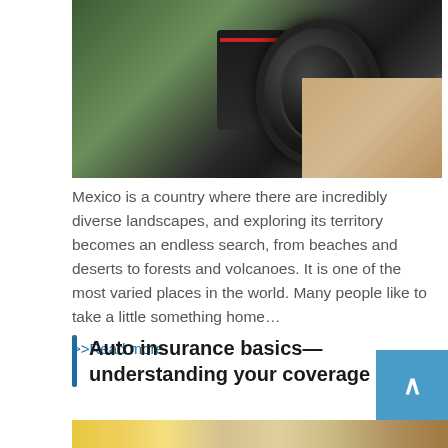[Figure (photo): Close-up photo of a person holding a camera with a large lens, with a wooden walkway in the background and green foliage.]
Mexico is a country where there are incredibly diverse landscapes, and exploring its territory becomes an endless search, from beaches and deserts to forests and volcanoes. It is one of the most varied places in the world. Many people like to take a little something home…
>>Read more
Auto insurance basics—understanding your coverage
[Figure (photo): Photo of yellow and white toy cars on a wooden surface next to a calculator, representing auto insurance concepts.]